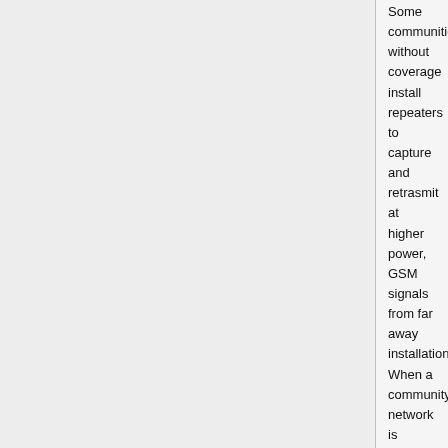Some communities without coverage install repeaters to capture and retrasmit at higher power, GSM signals from far away installations. When a community network is installed nearby, similar problems to those described above can happen. Specifically, the repeater begins repeating the community signal, instead of the one from far away. And for this reason, Rhizomatica strongly prefers to install networks far away from repeaters to avoid causing service interruptions to existing users of the repeater.
The only perceivable signal comes from a corporate site far away
The repeater retransmits this signal as it is the only one it hears
Strong new signal from the community network